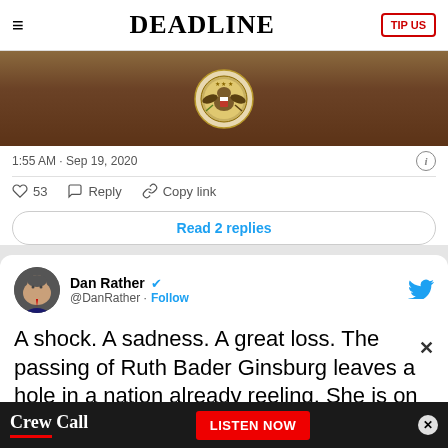DEADLINE
[Figure (screenshot): Partial Twitter/X screenshot showing a government seal (US State Department) on a wooden background, with timestamp '1:55 AM · Sep 19, 2020', like/reply/copy link actions (53 likes), and a 'Read 2 replies' button]
[Figure (screenshot): Twitter/X post by Dan Rather (@DanRather) with verified badge and Follow button. Tweet text: 'A shock. A sadness. A great loss. The passing of Ruth Bader Ginsburg leaves a hole in a nation already reeling. She is on' (truncated)]
[Figure (other): Advertisement banner for 'Crew Call' podcast with 'LISTEN NOW' button in red]